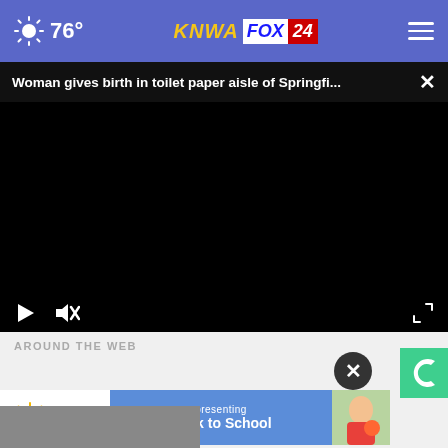76° KNWA FOX 24
Woman gives birth in toilet paper aisle of Springfi...
[Figure (screenshot): Black video player area with play button and mute button controls at bottom left, fullscreen button at bottom right]
AROUND THE WEB
[Figure (screenshot): Children's T.E.A.M. advertisement banner with sun logo on left, blue button presenting Back to School in center, child with ball on right]